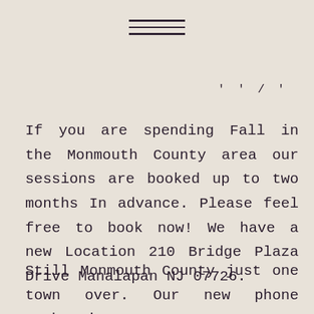[Figure (illustration): Hamburger menu icon with three horizontal lines]
' ' / '
If you are spending Fall in the Monmouth County area our sessions are booked up to two months In advance. Please feel free to book now! We have a new Location 210 Bridge Plaza Drive Manalapan NJ 07726.
Still Monmouth County just one town over. Our new phone number is 732-